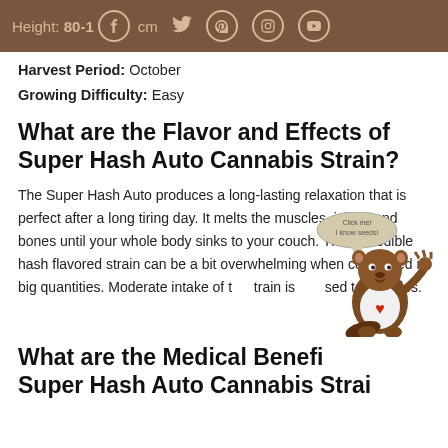Height: 80-100cm [social icons]
Harvest Period: October
Growing Difficulty: Easy
What are the Flavor and Effects of Super Hash Auto Cannabis Strain?
The Super Hash Auto produces a long-lasting relaxation that is perfect after a long tiring day. It melts the muscles, joints, and bones until your whole body sinks to your couch. This incredible hash flavored strain can be a bit overwhelming when consumed in big quantities. Moderate intake of this strain is advised to newbies.
[Figure (illustration): Cartoon beaver mascot wearing a white t-shirt with a red maple leaf, with a speech bubble saying 'Click me! I know seeds!']
What are the Medical Benefits of Super Hash Auto Cannabis Strain?